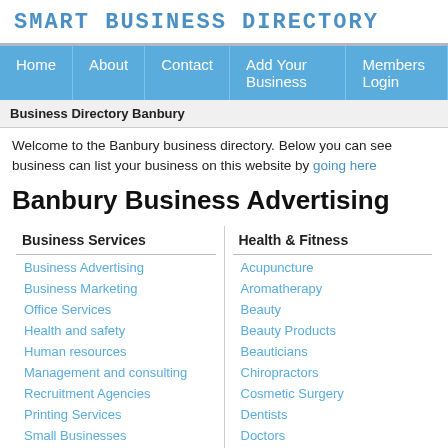SMART BUSINESS DIRECTORY
Home | About | Contact | Add Your Business | Members Login
Business Directory Banbury
Welcome to the Banbury business directory. Below you can see business can list your business on this website by going here
Banbury Business Advertising
Business Services
Business Advertising
Business Marketing
Office Services
Health and safety
Human resources
Management and consulting
Recruitment Agencies
Printing Services
Small Businesses
Office Supplies
Health & Fitness
Acupuncture
Aromatherapy
Beauty
Beauty Products
Beauticians
Chiropractors
Cosmetic Surgery
Dentists
Doctors
Clinics